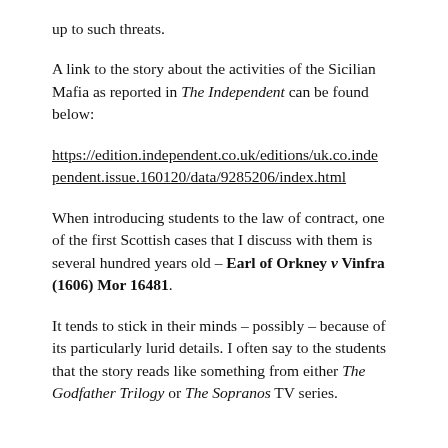up to such threats.
A link to the story about the activities of the Sicilian Mafia as reported in The Independent can be found below:
https://edition.independent.co.uk/editions/uk.co.independent.issue.160120/data/9285206/index.html
When introducing students to the law of contract, one of the first Scottish cases that I discuss with them is several hundred years old – Earl of Orkney v Vinfra (1606) Mor 16481.
It tends to stick in their minds – possibly – because of its particularly lurid details. I often say to the students that the story reads like something from either The Godfather Trilogy or The Sopranos TV series.